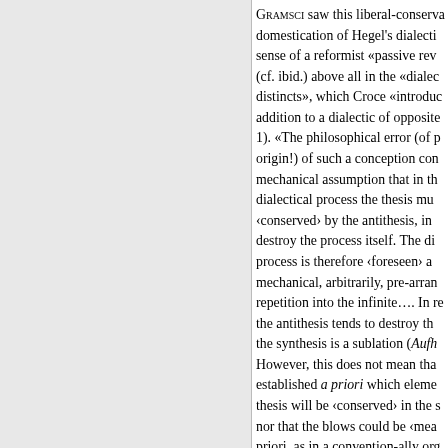GRAMSCI saw this liberal-conservative domestication of Hegel's dialectic in the sense of a reformist «passive revolution» (cf. ibid.) above all in the «dialectic of distincts», which Croce «introduced» in addition to a dialectic of opposites (ibid.: 1). «The philosophical error (of platonic origin!) of such a conception consists in a mechanical assumption that in the dialectical process the thesis must be ‹conserved› by the antithesis, in order not to destroy the process itself. The dialectical process is therefore ‹foreseen› as fixed, mechanical, arbitrarily, pre-arranged as a repetition into the infinite…. In reality, the antithesis tends to destroy the thesis, the synthesis is a sublation (Aufhebung). However, this does not mean that it can be established a priori which elements of the thesis will be ‹conserved› in the synthesis, nor that the blows could be ‹measured› a priori, as in a convention-ally organized